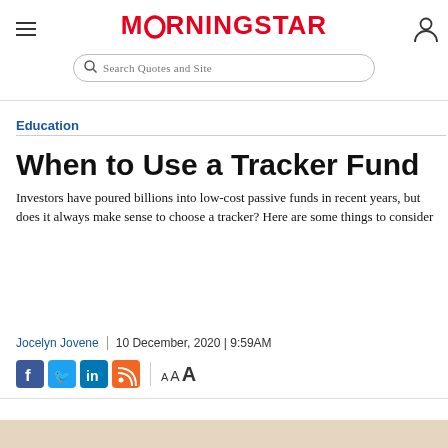MORNINGSTAR
Education
When to Use a Tracker Fund
Investors have poured billions into low-cost passive funds in recent years, but does it always make sense to choose a tracker? Here are some things to consider
Jocelyn Jovene | 10 December, 2020 | 9:59AM